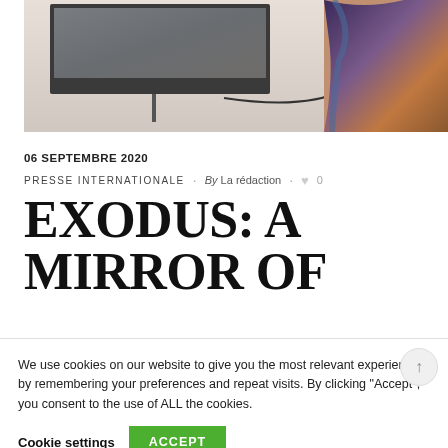[Figure (photo): A person with colorful hair standing near a TV mounted on a wall with a cable visible]
06 SEPTEMBRE 2020
PRESSE INTERNATIONALE · By La rédaction · ♥ 0
EXODUS: A MIRROR OF
We use cookies on our website to give you the most relevant experience by remembering your preferences and repeat visits. By clicking "Accept", you consent to the use of ALL the cookies.
Cookie settings  ACCEPT
French